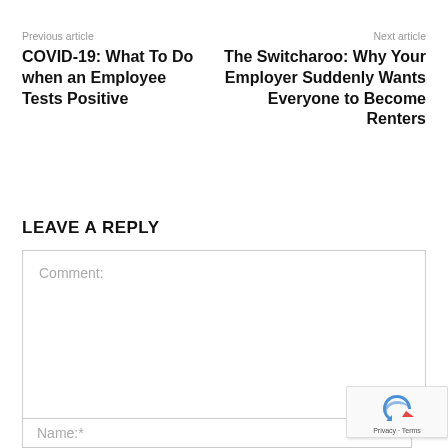Previous article
COVID-19: What To Do when an Employee Tests Positive
Next article
The Switcharoo: Why Your Employer Suddenly Wants Everyone to Become Renters
LEAVE A REPLY
Comment:
Name:*